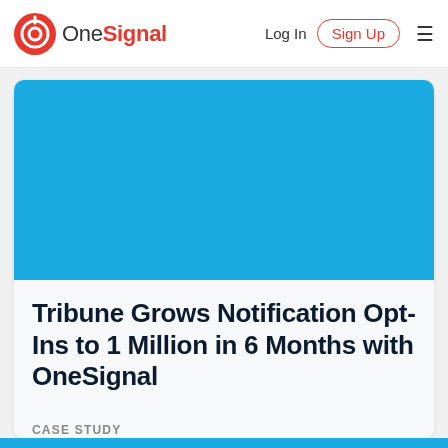OneSignal — Log In | Sign Up
[Figure (illustration): Blue rectangular banner image area for OneSignal case study]
Tribune Grows Notification Opt-Ins to 1 Million in 6 Months with OneSignal
CASE STUDY